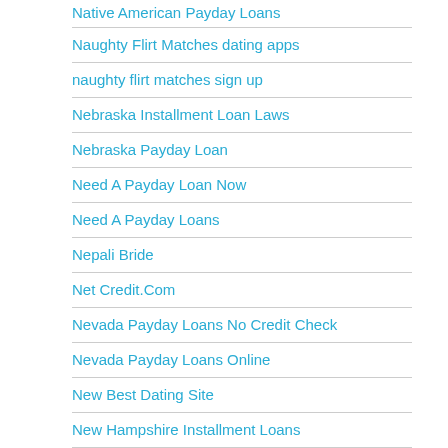Native American Payday Loans
Naughty Flirt Matches dating apps
naughty flirt matches sign up
Nebraska Installment Loan Laws
Nebraska Payday Loan
Need A Payday Loan Now
Need A Payday Loans
Nepali Bride
Net Credit.Com
Nevada Payday Loans No Credit Check
Nevada Payday Loans Online
New Best Dating Site
New Hampshire Installment Loans